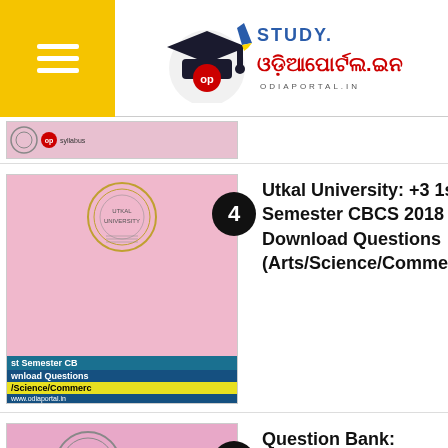STUDY ODIAPORTAL.IN - odiaPortal.in
[Figure (screenshot): Partial thumbnail of a study material item at the top]
4 - Utkal University: +3 1st Semester CBCS 2018 – Download Questions (Arts/Science/Commerce)
5 - Question Bank: Odisha "UPS/NRTS 2018" Question Papers Download [PDF]
[Figure (infographic): Infolinks advertisement bar with SmartPak banner ad and close button]